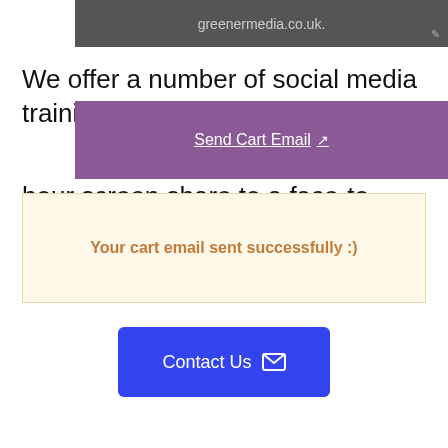greenermedia.co.uk.
We offer a number of social media training options for bu...-hour screen share to a face-to-face, week-long
[Figure (screenshot): Purple button/bar with 'Send Cart Email' link with external link icon]
Your cart email sent successfully :)
[Figure (screenshot): Blue 'Contact Us' button with envelope icon]